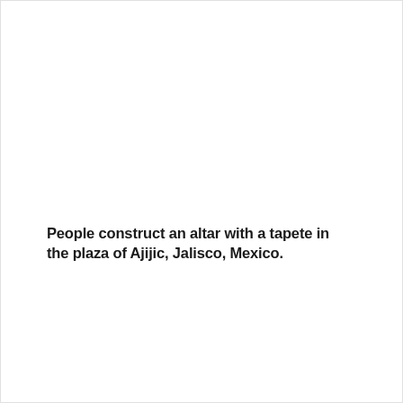People construct an altar with a tapete in the plaza of Ajijic, Jalisco, Mexico.